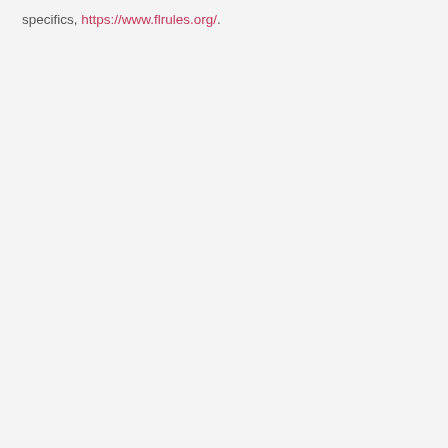specifics, https://www.flrules.org/.